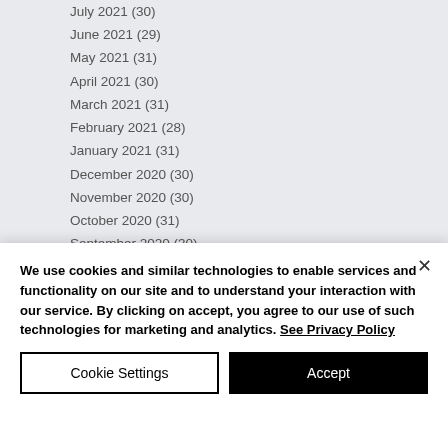July 2021 (30)
June 2021 (29)
May 2021 (31)
April 2021 (30)
March 2021 (31)
February 2021 (28)
January 2021 (31)
December 2020 (30)
November 2020 (30)
October 2020 (31)
September 2020 (30)
August 2020 (31)
July 2020 (31)
June 2020 (29)
We use cookies and similar technologies to enable services and functionality on our site and to understand your interaction with our service. By clicking on accept, you agree to our use of such technologies for marketing and analytics. See Privacy Policy